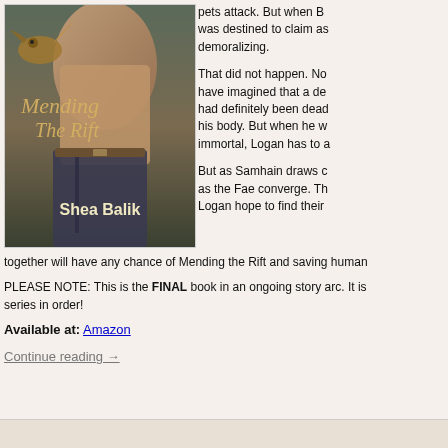[Figure (illustration): Book cover for 'Mending The Rift' by Shea Balik, featuring a shirtless muscular man with a hawk/eagle, ornate script title text in gold]
pets attack. But when B was destined to claim as demoralizing.
That did not happen. No have imagined that a de had definitely been deac his body. But when he w immortal, Logan has to a
But as Samhain draws c as the Fae converge. Th Logan hope to find their together will have any chance of Mending the Rift and saving human
PLEASE NOTE: This is the FINAL book in an ongoing story arc. It is series in order!
Available at: Amazon
Continue reading →